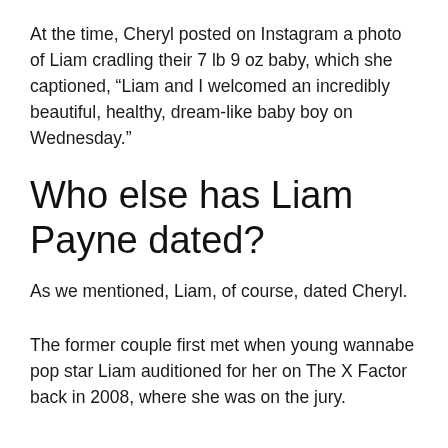At the time, Cheryl posted on Instagram a photo of Liam cradling their 7 lb 9 oz baby, which she captioned, “Liam and I welcomed an incredibly beautiful, healthy, dream-like baby boy on Wednesday.”
Who else has Liam Payne dated?
As we mentioned, Liam, of course, dated Cheryl.
The former couple first met when young wannabe pop star Liam auditioned for her on The X Factor back in 2008, where she was on the jury.